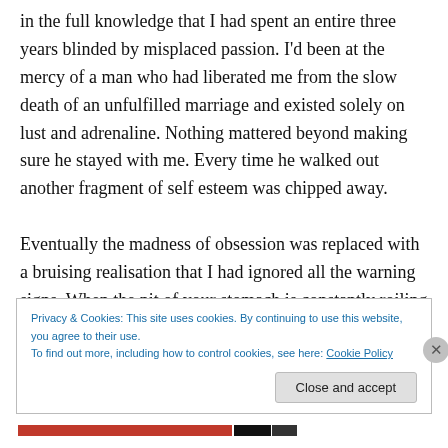in the full knowledge that I had spent an entire three years blinded by misplaced passion. I'd been at the mercy of a man who had liberated me from the slow death of an unfulfilled marriage and existed solely on lust and adrenaline. Nothing mattered beyond making sure he stayed with me. Every time he walked out another fragment of self esteem was chipped away.

Eventually the madness of obsession was replaced with a bruising realisation that I had ignored all the warning signs. When the pit of your stomach is constantly roiling
Privacy & Cookies: This site uses cookies. By continuing to use this website, you agree to their use.
To find out more, including how to control cookies, see here: Cookie Policy